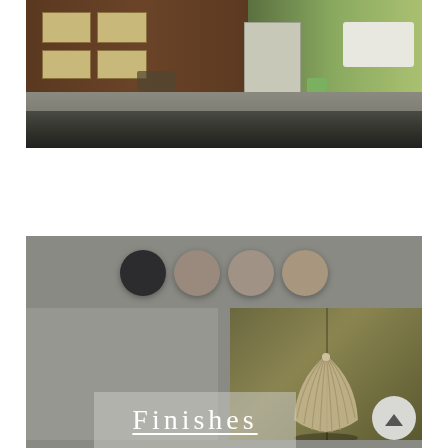[Figure (photo): Street scene photograph showing a wooden brown building on the left, a person with a bicycle/cargo bike on the wet sidewalk, a door in the center-right area, trees, and a white car partially visible on the far right. The ground is wet/reflective.]
[Figure (illustration): Product finishes panel showing four circular color swatches (dark charcoal, medium taupe, light taupe, warm tan) along the top, a product image of a ribbed/pleated dome-shaped lamp on an olive/dark green panel on the right, and a lighter gray panel on the left. A label box at the bottom reads 'Finishes' with underline. A circular scroll-up arrow button is in the bottom-right corner.]
Finishes